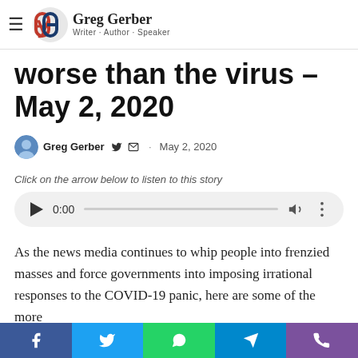Greg Gerber – Writer · Author · Speaker
worse than the virus – May 2, 2020
Greg Gerber · May 2, 2020
Click on the arrow below to listen to this story
[Figure (other): Audio player widget showing play button, 0:00 timestamp, progress bar, volume and more icons]
As the news media continues to whip people into frenzied masses and force governments into imposing irrational responses to the COVID-19 panic, here are some of the more
Facebook · Twitter · WhatsApp · Telegram · Viber